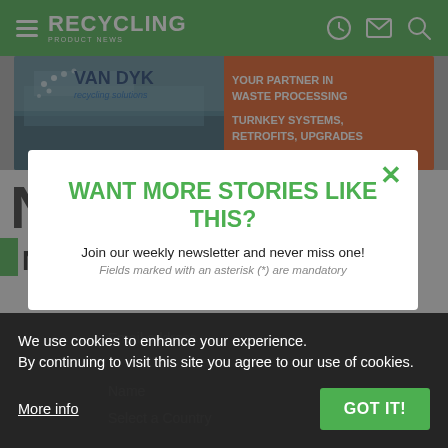RECYCLING PRODUCT NEWS
[Figure (screenshot): Van Dyk Recycling Solutions advertisement banner. Left side shows aerial photo of industrial facility in blue/teal tones with Van Dyk logo. Right side is orange with text: YOUR PARTNER IN WASTE PROCESSING / TURNKEY SYSTEMS, RETROFITS, UPGRADES]
WANT MORE STORIES LIKE THIS?
Join our weekly newsletter and never miss one!
Fields marked with an asterisk (*) are mandatory
Email address
Name
Select a Country
We use cookies to enhance your experience.
By continuing to visit this site you agree to our use of cookies.
More info
GOT IT!